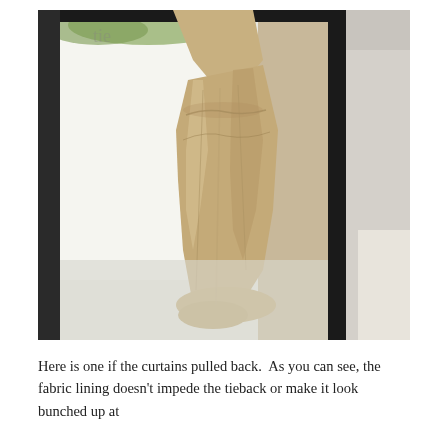[Figure (photo): Close-up photograph of a tan/beige fabric curtain panel gathered and bunched up near a vehicle or RV window. The curtain is tied back with a tieback, showing the gathered fabric pooling at the bottom. The window shows bright daylight outside with greenery visible. A cream-colored seat or upholstery is visible on the right side.]
Here is one if the curtains pulled back.  As you can see, the fabric lining doesn't impede the tieback or make it look bunched up at